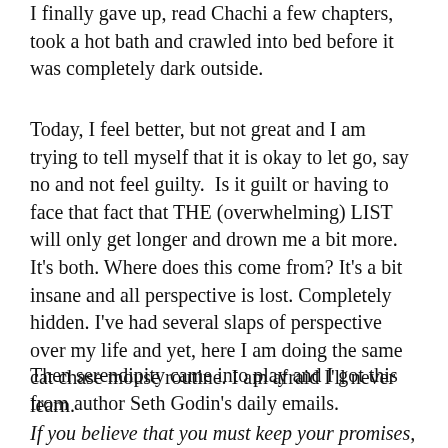I finally gave up, read Chachi a few chapters, took a hot bath and crawled into bed before it was completely dark outside.
Today, I feel better, but not great and I am trying to tell myself that it is okay to let go, say no and not feel guilty.  Is it guilt or having to face that fact that THE (overwhelming) LIST will only get longer and drown me a bit more.  It's both. Where does this come from? It's a bit insane and all perspective is lost. Completely hidden. I've had several slaps of perspective over my life and yet, here I am doing the same cat chase mouse routine. I am afraid I'll never learn.
Then serendipity came into play and I got this from author Seth Godin's daily emails.
If you believe that you must keep your promises, over-deliver and treat every commitment as though it's an